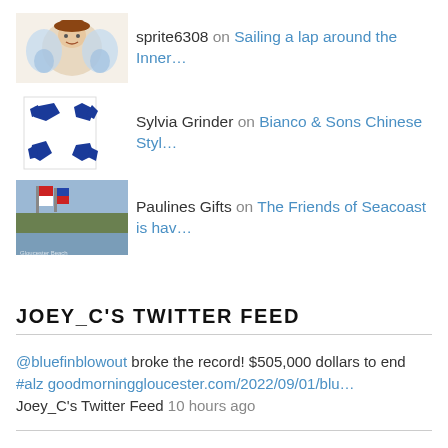sprite6308 on Sailing a lap around the Inner...
Sylvia Grinder on Bianco & Sons Chinese Styl...
Paulines Gifts on The Friends of Seacoast is hav...
JOEY_C'S TWITTER FEED
@bluefinblowout broke the record! $505,000 dollars to end #alz goodmorninggloucester.com/2022/09/01/blu… Joey_C's Twitter Feed 10 hours ago
NEW THIS YEAR AT SATURDAY SCHOONER FESTIVAL – HERITAGE GALLEY our food truck court located in front of Maritime Glo… twitter.com/i/web/status/1…Joey_C's Twitter Feed 11 hours ago